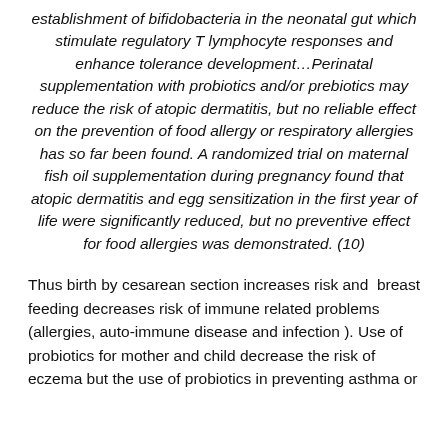establishment of bifidobacteria in the neonatal gut which stimulate regulatory T lymphocyte responses and enhance tolerance development…Perinatal supplementation with probiotics and/or prebiotics may reduce the risk of atopic dermatitis, but no reliable effect on the prevention of food allergy or respiratory allergies has so far been found. A randomized trial on maternal fish oil supplementation during pregnancy found that atopic dermatitis and egg sensitization in the first year of life were significantly reduced, but no preventive effect for food allergies was demonstrated. (10)
Thus birth by cesarean section increases risk and  breast feeding decreases risk of immune related problems (allergies, auto-immune disease and infection ). Use of probiotics for mother and child decrease the risk of eczema but the use of probiotics in preventing asthma or